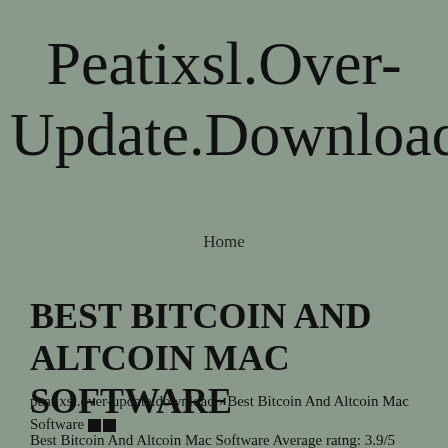Peatixsl.Over-Update.Download
Home
BEST BITCOIN AND ALTCOIN MAC SOFTWARE
peatixsl.over-update.download › Best Bitcoin And Altcoin Mac Software ■■
Best Bitcoin And Altcoin Mac Software Average ratng: 3.9/5 3386